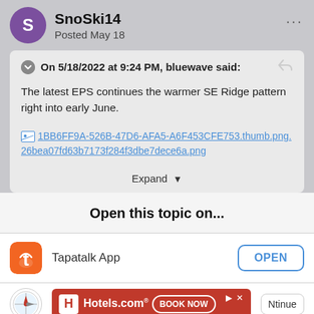SnoSki14
Posted May 18
On 5/18/2022 at 9:24 PM, bluewave said:
The latest EPS continues the warmer SE Ridge pattern right into early June.
[Figure (screenshot): Broken image link: 1BB6FF9A-526B-47D6-AFA5-A6F453CFE753.thumb.png.26bea07fd63b7173f284f3dbe7dece6a.png]
Expand
Open this topic on...
Tapatalk App
OPEN
[Figure (screenshot): Hotels.com advertisement with BOOK NOW button]